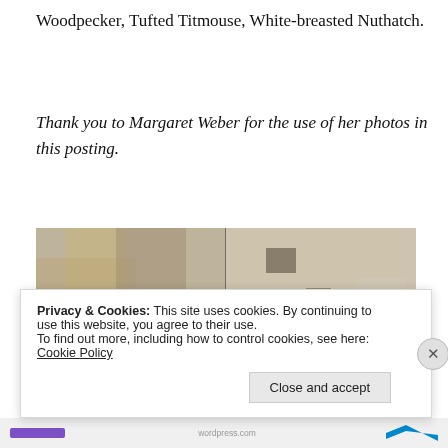Woodpecker, Tufted Titmouse, White-breasted Nuthatch.
Thank you to Margaret Weber for the use of her photos in this posting.
[Figure (photo): Two bird photos side by side: left photo shows a small bird (chickadee or titmouse) perched on dried plant material with a blurred background; right photo shows a woodpecker clinging to the side of a tree trunk with a red cap, black and white plumage.]
Privacy & Cookies: This site uses cookies. By continuing to use this website, you agree to their use.
To find out more, including how to control cookies, see here: Cookie Policy
Close and accept